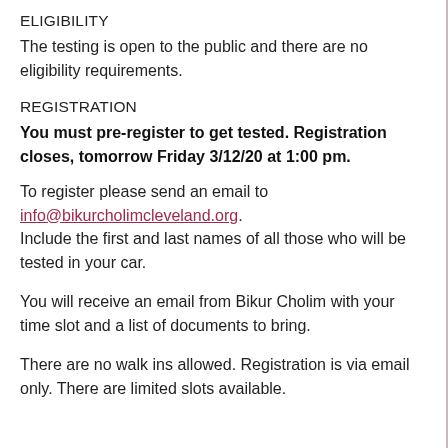ELIGIBILITY
The testing is open to the public and there are no eligibility requirements.
REGISTRATION
You must pre-register to get tested. Registration closes, tomorrow Friday 3/12/20 at 1:00 pm.
To register please send an email to info@bikurcholimcleveland.org. Include the first and last names of all those who will be tested in your car.
You will receive an email from Bikur Cholim with your time slot and a list of documents to bring.
There are no walk ins allowed. Registration is via email only. There are limited slots available.